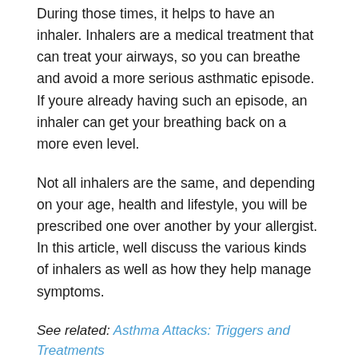During those times, it helps to have an inhaler. Inhalers are a medical treatment that can treat your airways, so you can breathe and avoid a more serious asthmatic episode. If youre already having such an episode, an inhaler can get your breathing back on a more even level.
Not all inhalers are the same, and depending on your age, health and lifestyle, you will be prescribed one over another by your allergist. In this article, well discuss the various kinds of inhalers as well as how they help manage symptoms.
See related: Asthma Attacks: Triggers and Treatments
How Do I Know Which One I Should Use